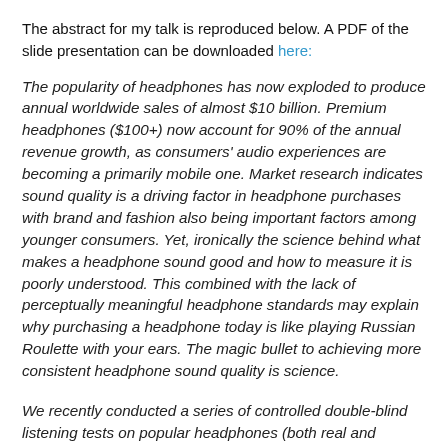The abstract for my talk is reproduced below. A PDF of the slide presentation can be downloaded here:
The popularity of headphones has now exploded to produce annual worldwide sales of almost $10 billion. Premium headphones ($100+) now account for 90% of the annual revenue growth, as consumers' audio experiences are becoming a primarily mobile one. Market research indicates sound quality is a driving factor in headphone purchases with brand and fashion also being important factors among younger consumers. Yet, ironically the science behind what makes a headphone sound good and how to measure it is poorly understood. This combined with the lack of perceptually meaningful headphone standards may explain why purchasing a headphone today is like playing Russian Roulette with your ears. The magic bullet to achieving more consistent headphone sound quality is science.
We recently conducted a series of controlled double-blind listening tests on popular headphones (both real and